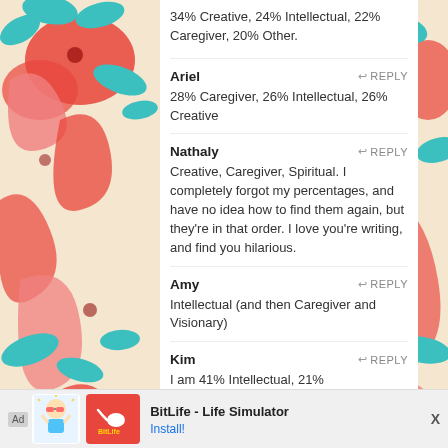34% Creative, 24% Intellectual, 22% Caregiver, 20% Other.
Ariel — REPLY
28% Caregiver, 26% Intellectual, 26% Creative
Nathaly — REPLY
Creative, Caregiver, Spiritual. I completely forgot my percentages, and have no idea how to find them again, but they're in that order. I love you're writing, and find you hilarious.
Amy — REPLY
Intellectual (and then Caregiver and Visionary)
Kim — REPLY
I am 41% Intellectual, 21% Queen/Executive, and 18% Caregiver. I always knew I would be a smart ruler. After
[Figure (infographic): Ad banner for BitLife - Life Simulator app with Install button]